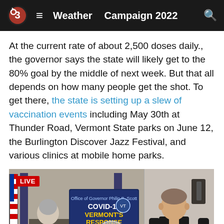Weather  Campaign 2022
At the current rate of about 2,500 doses daily., the governor says the state will likely get to the 80% goal by the middle of next week. But that all depends on how many people get the shot. To get there, the state is setting up a slew of vaccination events including May 30th at Thunder Road, Vermont State parks on June 12, the Burlington Discover Jazz Festival, and various clinics at mobile home parks.
[Figure (screenshot): Live video thumbnail showing a press conference with Vermont COVID-19 Response signage, flags, and a man in a black shirt. A play button overlay is visible in the center.]